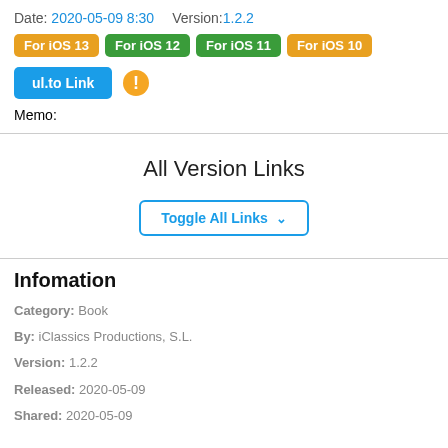Date: 2020-05-09 8:30   Version:1.2.2
For iOS 13  For iOS 12  For iOS 11  For iOS 10
ul.to Link  [warning icon]
Memo:
All Version Links
Toggle All Links ∨
Infomation
Category: Book
By: iClassics Productions, S.L.
Version: 1.2.2
Released: 2020-05-09
Shared: 2020-05-09